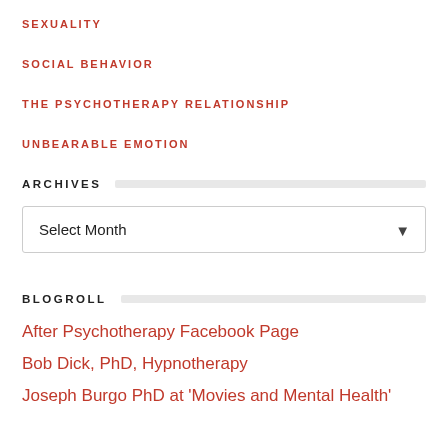SEXUALITY
SOCIAL BEHAVIOR
THE PSYCHOTHERAPY RELATIONSHIP
UNBEARABLE EMOTION
ARCHIVES
Select Month
BLOGROLL
After Psychotherapy Facebook Page
Bob Dick, PhD, Hypnotherapy
Joseph Burgo PhD at 'Movies and Mental Health'